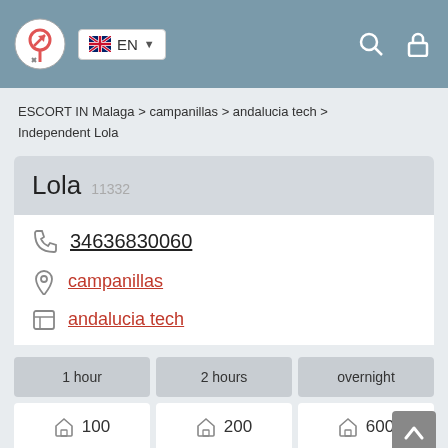EN
ESCORT IN Malaga > campanillas > andalucia tech > Independent Lola
Lola 11332
34636830060
campanillas
andalucia tech
| 1 hour | 2 hours | overnight |
| --- | --- | --- |
| 100 | 200 | 600 |
| 150 | 300 | 900 |